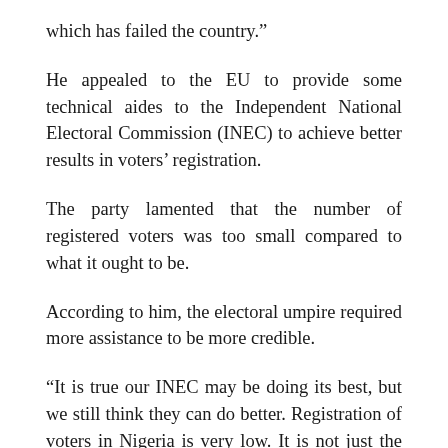which has failed the country.”
He appealed to the EU to provide some technical aides to the Independent National Electoral Commission (INEC) to achieve better results in voters’ registration.
The party lamented that the number of registered voters was too small compared to what it ought to be.
According to him, the electoral umpire required more assistance to be more credible.
“It is true our INEC may be doing its best, but we still think they can do better. Registration of voters in Nigeria is very low. It is not just the mobilisation by the political parties, but it is also about the technical capacity of INEC to go out there and